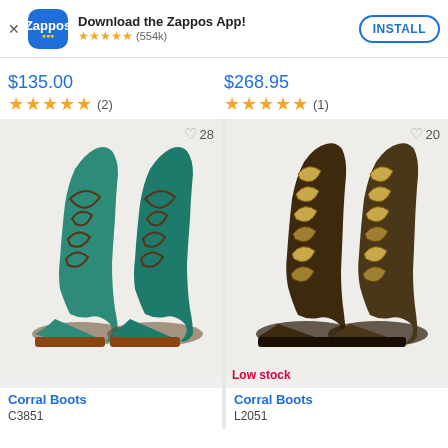[Figure (screenshot): Zappos app install banner with logo, star rating (554k reviews), and INSTALL button]
$135.00
$268.95
★★★★★ (2)
★★★★★ (1)
[Figure (photo): Turquoise/teal cowboy boots with brown stitching pattern, heart icon with 28 likes]
[Figure (photo): Brown/gold ornate embroidered cowboy boots, heart icon with 20 likes, Low stock label]
Corral Boots
C3851
Corral Boots
L2051